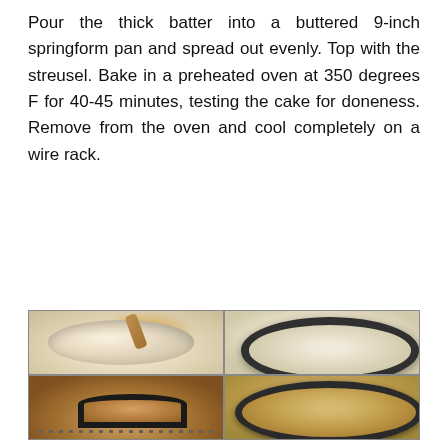Pour the thick batter into a buttered 9-inch springform pan and spread out evenly. Top with the streusel. Bake in a preheated oven at 350 degrees F for 40-45 minutes, testing the cake for doneness. Remove from the oven and cool completely on a wire rack.
[Figure (photo): Four-panel grid showing baking steps: (top-left) thick batter in a glass bowl with a wooden spoon, (top-right) batter spread in a dark springform pan with streusel on top, (bottom-left) springform pan inside a preheated oven on the rack, (bottom-right) baked cake in the springform pan on a wire rack.]